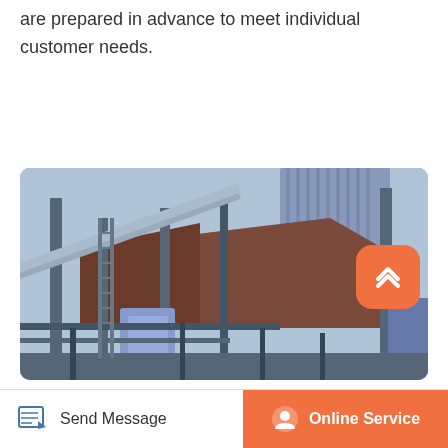are prepared in advance to meet individual customer needs.
Read More
[Figure (photo): Industrial facility with large metallic silos, pipes, conveyors, and structural steel framework — typical of a cement or chemical processing plant.]
Send Message | Online Service